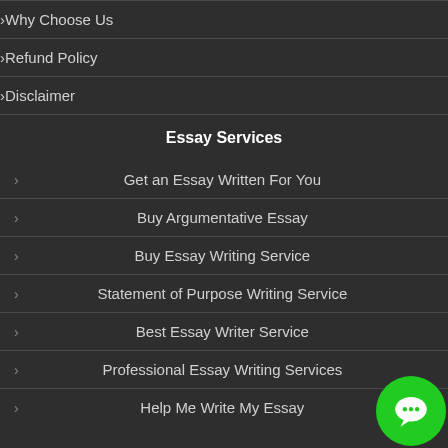Why Choose Us
Refund Policy
Disclaimer
Essay Services
Get an Essay Written For You
Buy Argumentative Essay
Buy Essay Writing Service
Statement of Purpose Writing Service
Best Essay Writer Service
Professional Essay Writing Services
Help Me Write My Essay